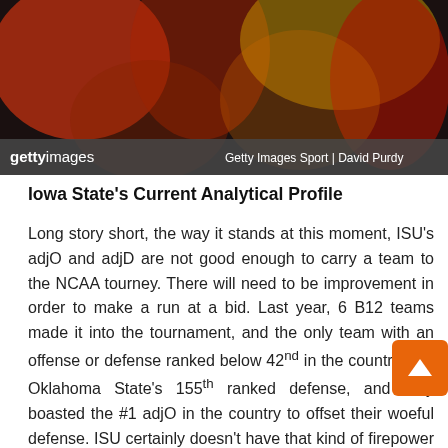[Figure (photo): Basketball game action photo with players in red and yellow uniforms, Getty Images Sport photo by David Purdy]
Iowa State's Current Analytical Profile
Long story short, the way it stands at this moment, ISU's adjO and adjD are not good enough to carry a team to the NCAA tourney. There will need to be improvement in order to make a run at a bid. Last year, 6 B12 teams made it into the tournament, and the only team with an offense or defense ranked below 42nd in the country was Oklahoma State's 155th ranked defense, and they boasted the #1 adjO in the country to offset their woeful defense. ISU certainly doesn't have that kind of firepower with the current 44th ranked offense and the 107th defense. Both units would be in the bottom 3 units of last year's B12 class of tourney invitees. The good news is there's plenty of quality teams to boost these numbers as ISU